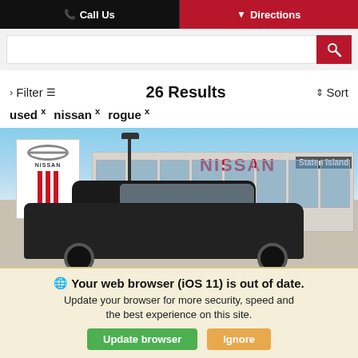Call Us   Directions
[Figure (screenshot): Search bar with text input and red search button]
> Filter   26 Results   ⇕ Sort
used × nissan × rogue ×
[Figure (photo): Photo of a Nissan dealership in Staten Island with a dark Nissan Rogue SUV in the foreground]
Your web browser (iOS 11) is out of date. Update your browser for more security, speed and the best experience on this site.
Update browser   Ignore